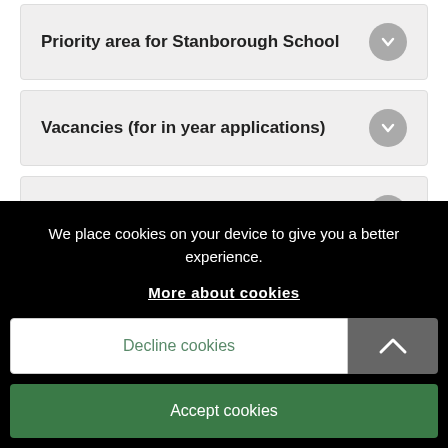Priority area for Stanborough School
Vacancies (for in year applications)
Performance and Ofsted
We place cookies on your device to give you a better experience.
More about cookies
Decline cookies
Accept cookies